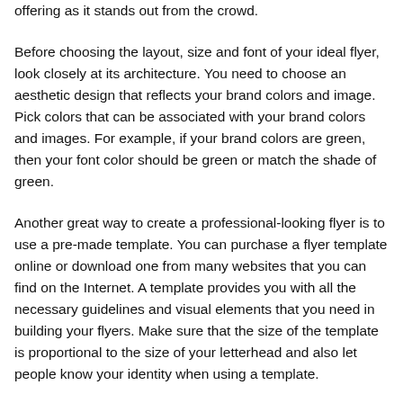offering as it stands out from the crowd.
Before choosing the layout, size and font of your ideal flyer, look closely at its architecture. You need to choose an aesthetic design that reflects your brand colors and image. Pick colors that can be associated with your brand colors and images. For example, if your brand colors are green, then your font color should be green or match the shade of green.
Another great way to create a professional-looking flyer is to use a pre-made template. You can purchase a flyer template online or download one from many websites that you can find on the Internet. A template provides you with all the necessary guidelines and visual elements that you need in building your flyers. Make sure that the size of the template is proportional to the size of your letterhead and also let people know your identity when using a template.